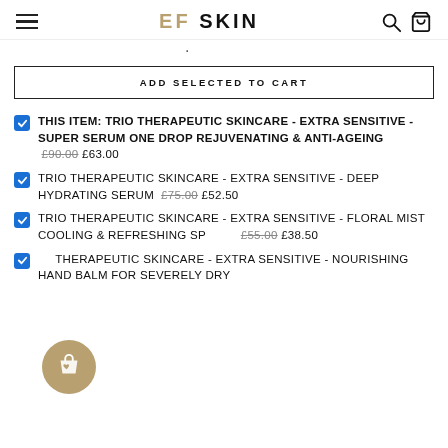EF SKIN
ADD SELECTED TO CART
THIS ITEM: TRIO THERAPEUTIC SKINCARE - EXTRA SENSITIVE - SUPER SERUM ONE DROP REJUVENATING & ANTI-AGEING £90.00 £63.00
TRIO THERAPEUTIC SKINCARE - EXTRA SENSITIVE - DEEP HYDRATING SERUM £75.00 £52.50
TRIO THERAPEUTIC SKINCARE - EXTRA SENSITIVE - FLORAL MIST COOLING & REFRESHING SPRAY £55.00 £38.50
TRIO THERAPEUTIC SKINCARE - EXTRA SENSITIVE - NOURISHING HAND BALM FOR SEVERELY DRY